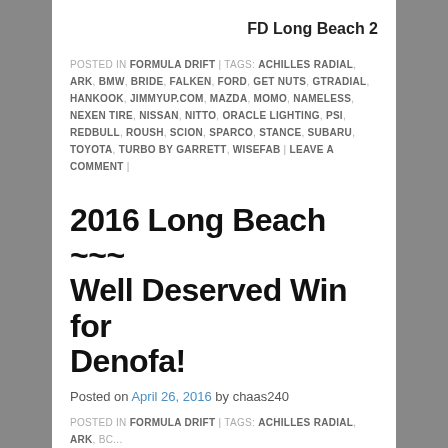FD Long Beach 2
POSTED IN FORMULA DRIFT | TAGS: ACHILLES RADIAL, ARK, BMW, BRIDE, FALKEN, FORD, GET NUTS, GTRADIAL, HANKOOK, JIMMYUP.COM, MAZDA, MOMO, NAMELESS, NEXEN TIRE, NISSAN, NITTO, ORACLE LIGHTING, PSI, REDBULL, ROUSH, SCION, SPARCO, STANCE, SUBARU, TOYOTA, TURBO BY GARRETT, WISEFAB | LEAVE A COMMENT |
2016 Long Beach ~~~ Well Deserved Win for Denofa!
Posted on April 26, 2016 by chaas240
POSTED IN FORMULA DRIFT | TAGS: ACHILLES RADIAL, ARK, BC...